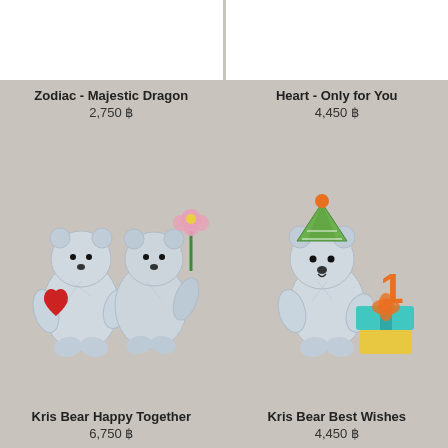[Figure (photo): Top-left area showing white background - top portion of Zodiac Majestic Dragon product]
Zodiac - Majestic Dragon
2,750 ฿
[Figure (photo): Top-right area showing white background - top portion of Heart Only for You product]
Heart - Only for You
4,450 ฿
[Figure (photo): Two crystal Kris Bear figurines holding hands, one holding a red heart and one holding a pink flower]
Kris Bear Happy Together
6,750 ฿
[Figure (photo): Crystal Kris Bear figurine wearing a party hat standing next to a gift box with number 1]
Kris Bear Best Wishes
4,450 ฿